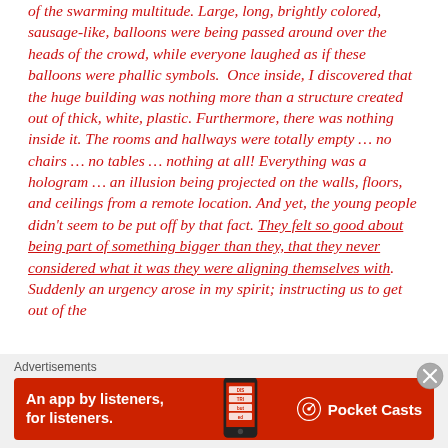of the swarming multitude. Large, long, brightly colored, sausage-like, balloons were being passed around over the heads of the crowd, while everyone laughed as if these balloons were phallic symbols.  Once inside, I discovered that the huge building was nothing more than a structure created out of thick, white, plastic. Furthermore, there was nothing inside it. The rooms and hallways were totally empty … no chairs … no tables … nothing at all! Everything was a hologram … an illusion being projected on the walls, floors, and ceilings from a remote location. And yet, the young people didn't seem to be put off by that fact. They felt so good about being part of something bigger than they, that they never considered what it was they were aligning themselves with.  Suddenly an urgency arose in my spirit; instructing us to get out of the
Advertisements
[Figure (other): Pocket Casts advertisement banner with red background, showing text 'An app by listeners, for listeners.' with Pocket Casts logo and a phone image]